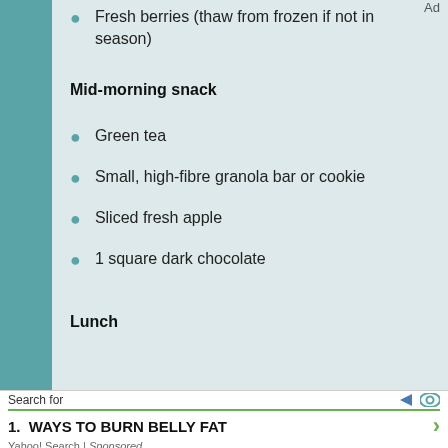Fresh berries (thaw from frozen if not in season)
Mid-morning snack
Green tea
Small, high-fibre granola bar or cookie
Sliced fresh apple
1 square dark chocolate
Lunch
Search for
1. WAYS TO BURN BELLY FAT
Yahoo! Search | Sponsored